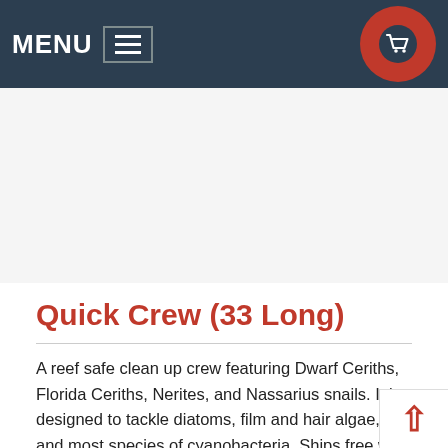MENU ☰
[Figure (photo): Product image placeholder area, white/light gray background]
Quick Crew (33 Long)
A reef safe clean up crew featuring Dwarf Ceriths, Florida Ceriths, Nerites, and Nassarius snails. It is designed to tackle diatoms, film and hair algae, and most species of cyanobacteria. Ships free with Priority Mail!
$49.14